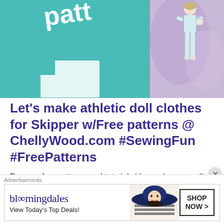[Figure (photo): Cropped image showing a sewing pattern book with teal/turquoise fabric background and a doll wearing light blue athletic clothes on the right side.]
Let's make athletic doll clothes for Skipper w/Free patterns @ ChellyWood.com #SewingFun #FreePatterns
For your free patterns and tutorial videos, please scroll down to the second set of bullets. Last week I gave you the patterns and tutorial videos for making the hooded sweatshirt. Yesterday you got
Advertisements
[Figure (photo): Bloomingdales advertisement banner: logo text 'bloomingdales', tagline 'View Today's Top Deals!', image of woman in large blue hat, button 'SHOP NOW >']